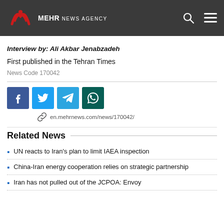MEHR NEWS AGENCY
Interview by: Ali Akbar Jenabzadeh
First published in the Tehran Times
News Code 170042
[Figure (infographic): Social share buttons: Facebook, Twitter, Telegram, WhatsApp, and a link showing en.mehrnews.com/news/170042/]
Related News
UN reacts to Iran’s plan to limit IAEA inspection
China-Iran energy cooperation relies on strategic partnership
Iran has not pulled out of the JCPOA: Envoy